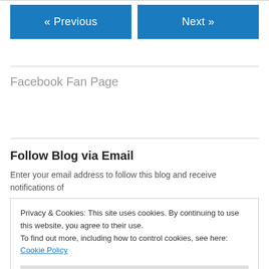« Previous
Next »
Facebook Fan Page
Follow Blog via Email
Enter your email address to follow this blog and receive notifications of new posts by email.
Privacy & Cookies: This site uses cookies. By continuing to use this website, you agree to their use.
To find out more, including how to control cookies, see here: Cookie Policy
Close and accept
Join 2,834 other followers